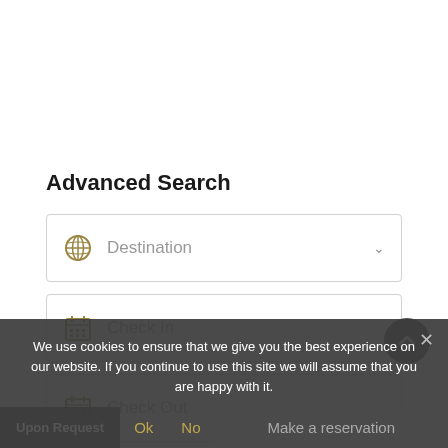Advanced Search
Destination
Check In
Check Out
We use cookies to ensure that we give you the best experience on our website. If you continue to use this site we will assume that you are happy with it.
Ok  No
Upon Request
Make a reservation